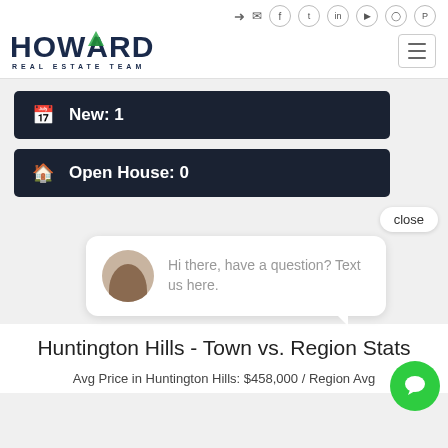Howard Real Estate Team - navigation header with social icons
New: 1
Open House: 0
close
Hi there, have a question? Text us here.
Huntington Hills - Town vs. Region Stats
Avg Price in Huntington Hills: $458,000 / Region Avg